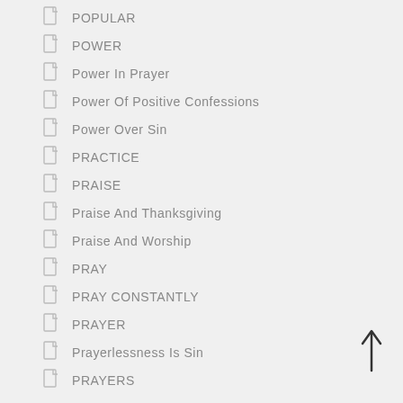POPULAR
POWER
Power In Prayer
Power Of Positive Confessions
Power Over Sin
PRACTICE
PRAISE
Praise And Thanksgiving
Praise And Worship
PRAY
PRAY CONSTANTLY
PRAYER
Prayerlessness Is Sin
PRAYERS